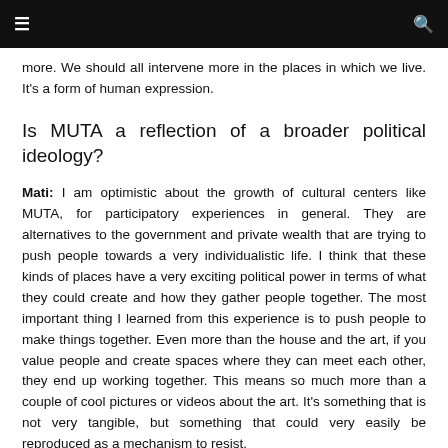≡  🔍
more. We should all intervene more in the places in which we live. It's a form of human expression.
Is MUTA a reflection of a broader political ideology?
Mati: I am optimistic about the growth of cultural centers like MUTA, for participatory experiences in general. They are alternatives to the government and private wealth that are trying to push people towards a very individualistic life. I think that these kinds of places have a very exciting political power in terms of what they could create and how they gather people together. The most important thing I learned from this experience is to push people to make things together. Even more than the house and the art, if you value people and create spaces where they can meet each other, they end up working together. This means so much more than a couple of cool pictures or videos about the art. It's something that is not very tangible, but something that could very easily be reproduced as a mechanism to resist.